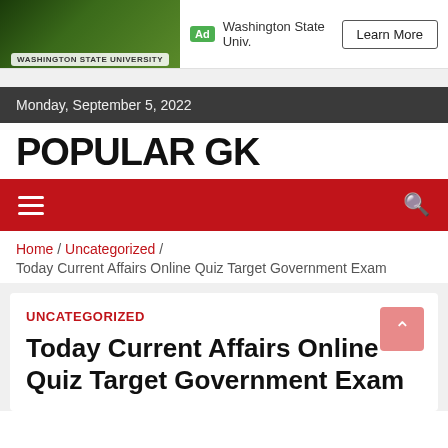[Figure (screenshot): Advertisement banner for Washington State University with green campus photo on left, Ad label, university name text, and Learn More button]
Monday, September 5, 2022
POPULAR GK
[Figure (infographic): Red navigation bar with hamburger menu icon on left and search icon on right]
Home / Uncategorized / Today Current Affairs Online Quiz Target Government Exam
UNCATEGORIZED
Today Current Affairs Online Quiz Target Government Exam